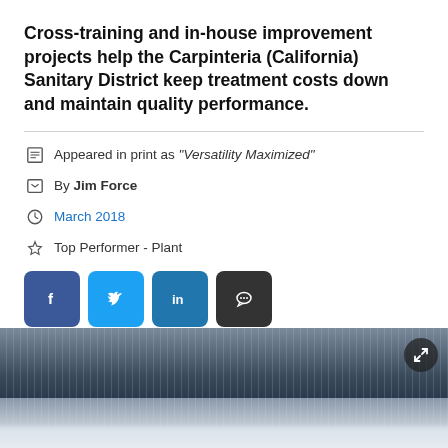Cross-training and in-house improvement projects help the Carpinteria (California) Sanitary District keep treatment costs down and maintain quality performance.
Appeared in print as "Versatility Maximized"
By Jim Force
March 2018
Top Performer - Plant
[Figure (photo): Photo of water treatment or aeration equipment with water droplets/splashing visible, dark industrial background]